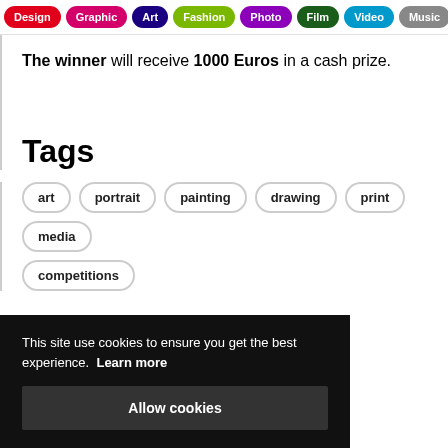Design | Graphic | Art | Fashion | Photo | Film | Video | Music
The winner will receive 1000 Euros in a cash prize.
Tags
art
portrait
painting
drawing
print
media
competitions
This site use cookies to ensure you get the best experience. Learn more
Allow cookies